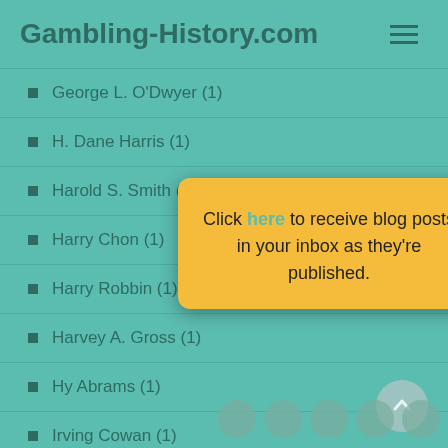Gambling-History.com
George L. O'Dwyer (1)
H. Dane Harris (1)
Harold S. Smith (1)
Harry Chon (1)
Harry Robbin (1)
Harvey A. Gross (1)
Hy Abrams (1)
Irving Cowan (1)
Click here to receive blog posts in your inbox as they're published.